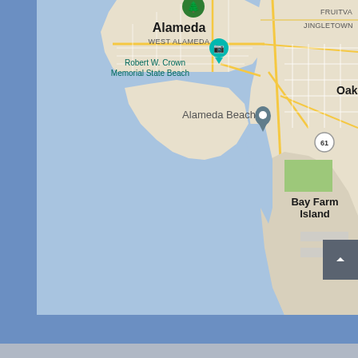[Figure (map): Google Maps screenshot showing the Alameda, California area including Alameda Beach, Robert W. Crown Memorial State Beach, West Alameda, Oakland, Jingletown, Fruitvale, Bay Farm Island, and Oakland International Airport. The map shows San Francisco Bay water (light blue) to the left and south, with land areas (beige/tan) showing the street grid of Alameda and Oakland. A location pin marker is placed at Alameda Beach. There is a green park icon for what appears to be a state/national park north of Alameda. A camera icon (teal) marks Robert W. Crown Memorial State Beach. A route 61 shield is visible near Bay Farm Island.]